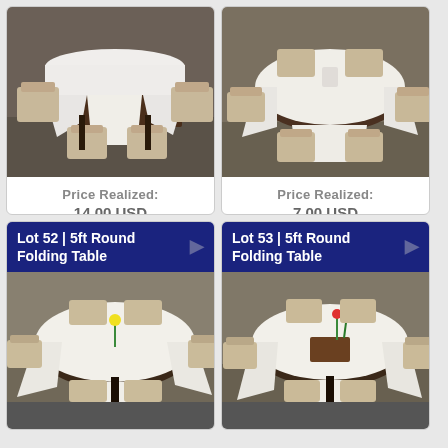[Figure (photo): Photo of a rectangular folding table with white tablecloth and chairs around it]
Price Realized:
14.00 USD
[Figure (photo): Photo of a round folding table with white tablecloth and chairs around it]
Price Realized:
7.00 USD
[Figure (photo): Lot 52 | 5ft Round Folding Table - photo of round table with white tablecloth and chairs]
[Figure (photo): Lot 53 | 5ft Round Folding Table - photo of round table with white tablecloth and chairs]